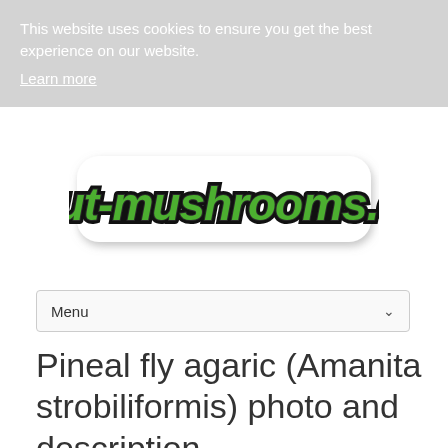This website uses cookies to ensure you get the best experience on our website. Learn more
[Figure (logo): about-mushrooms.com logo with green blocky text on white sticker-style background with black outline and drop shadow]
Menu
Pineal fly agaric (Amanita strobiliformis) photo and description